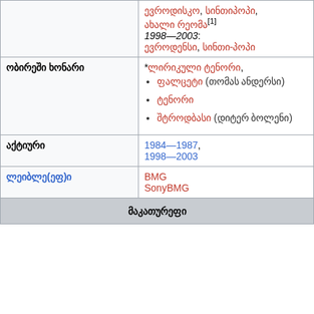|  | ევრო­დის­კო, სინ­თი­პო­პი, ახა­ლი რე­ო­მა[1]
1998—2003:
ევ­რო­დენ­სი, სინ­თი-­პო­პი |
| ობი­რე­ში ხო­ნა­რი | *ლი­რი­კუ­ლი ტე­ნო­რი,
• ფალ­ცე­ტი (თო­მას ან­დერ­სი)
• ტე­ნო­რი
• შტ­როდ­ბა­სი (დი­ტერ ბო­ლე­ნი) |
| აქ­ტი­უ­რი | 1984—1987,
1998—2003 |
| ლე­იბ­ლე(ეფ)ი | BMG
SonyBMG |
| მა­კა­თუ­რე­ფი |  |